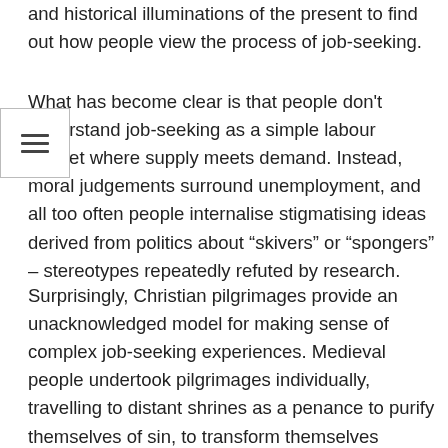and historical illuminations of the present to find out how people view the process of job-seeking.
What has become clear is that people don't understand job-seeking as a simple labour market where supply meets demand. Instead, moral judgements surround unemployment, and all too often people internalise stigmatising ideas derived from politics about “skivers” or “spongers” – stereotypes repeatedly refuted by research.
Surprisingly, Christian pilgrimages provide an unacknowledged model for making sense of complex job-seeking experiences. Medieval people undertook pilgrimages individually, travelling to distant shrines as a penance to purify themselves of sin, to transform themselves through a trial of faith.